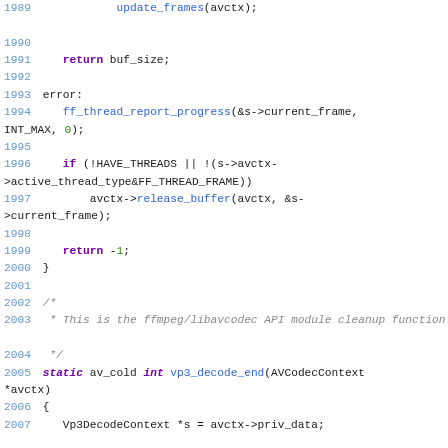Source code snippet showing C code lines 1989-2007 from an FFmpeg/libavcodec VP3 decoder implementation